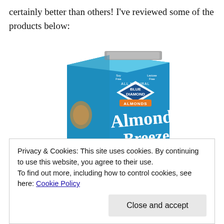certainly better than others! I've reviewed some of the products below:
[Figure (photo): Blue Diamond Almond Breeze almond milk carton, blue packaging with 'ALL NATURAL BLUE DIAMOND ALMONDS Almond Breeze ALMONDMILK' text and '60' calories badge]
Privacy & Cookies: This site uses cookies. By continuing to use this website, you agree to their use.
To find out more, including how to control cookies, see here: Cookie Policy
Close and accept